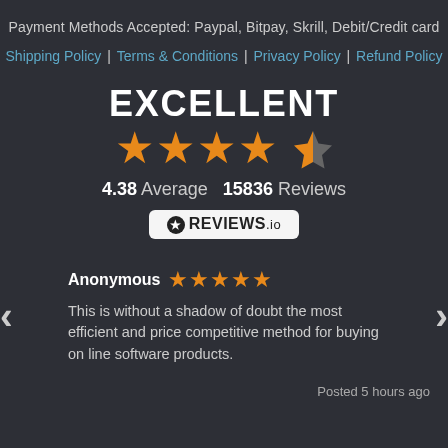Payment Methods Accepted: Paypal, Bitpay, Skrill, Debit/Credit card
Shipping Policy | Terms & Conditions | Privacy Policy | Refund Policy
[Figure (infographic): EXCELLENT rating badge with 4.5 stars (4.38 average), 15836 Reviews, REVIEWS.io logo]
Anonymous ★★★★★ — This is without a shadow of doubt the most efficient and price competitive method for buying on line software products. Posted 5 hours ago